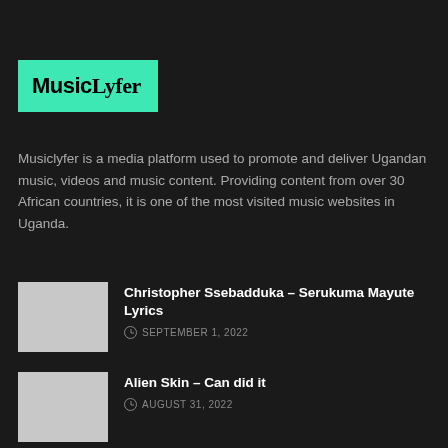[Figure (logo): MusicLyfer logo — teal/green background with bold text 'Music' in sans-serif and 'Lyfer' in serif font, both black]
Musiclyfer is a media platform used to promote and deliver Ugandan music, videos and music content. Providing content from over 30 African countries, it is one of the most visited music websites in Uganda.
Christopher Ssebadduka – Serukuma Mayute Lyrics
SEPTEMBER 1, 2022
Alien Skin – Can did it
AUGUST 31, 2022